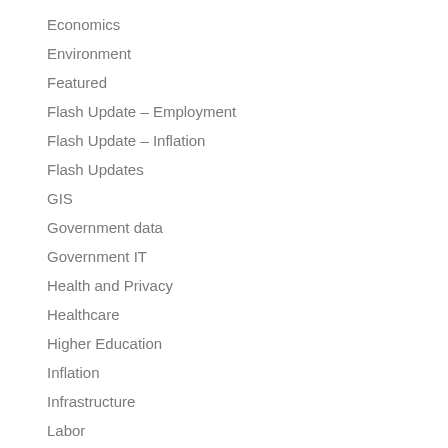Economics
Environment
Featured
Flash Update – Employment
Flash Update – Inflation
Flash Updates
GIS
Government data
Government IT
Health and Privacy
Healthcare
Higher Education
Inflation
Infrastructure
Labor